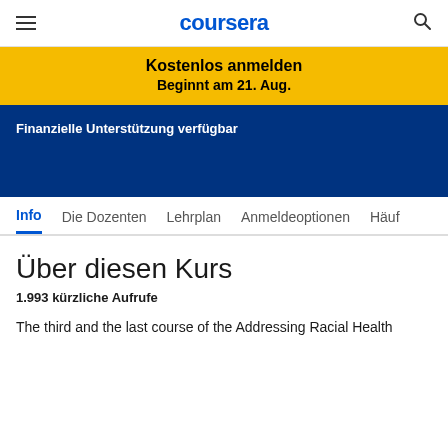coursera
Kostenlos anmelden
Beginnt am 21. Aug.
Finanzielle Unterstützung verfügbar
Info   Die Dozenten   Lehrplan   Anmeldeoptionen   Häuf
Über diesen Kurs
1.993 kürzliche Aufrufe
The third and the last course of the Addressing Racial Health